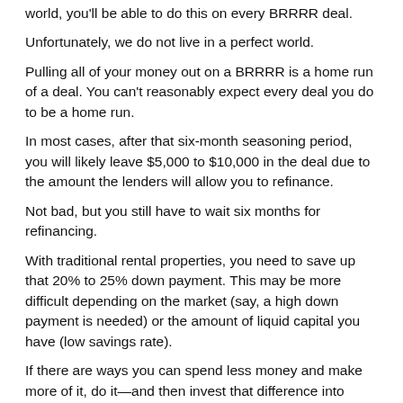world, you'll be able to do this on every BRRRR deal.
Unfortunately, we do not live in a perfect world.
Pulling all of your money out on a BRRRR is a home run of a deal. You can't reasonably expect every deal you do to be a home run.
In most cases, after that six-month seasoning period, you will likely leave $5,000 to $10,000 in the deal due to the amount the lenders will allow you to refinance.
Not bad, but you still have to wait six months for refinancing.
With traditional rental properties, you need to save up that 20% to 25% down payment. This may be more difficult depending on the market (say, a high down payment is needed) or the amount of liquid capital you have (low savings rate).
If there are ways you can spend less money and make more of it, do it—and then invest that difference into traditional rental properties.
Who shouldn't use the BRRRR